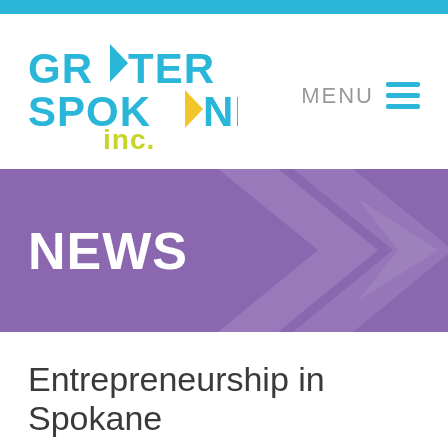[Figure (logo): Greater Spokane Inc. logo with cyan and yellow text and arrow shapes]
MENU
[Figure (illustration): Purple NEWS banner with decorative diamond shapes]
Entrepreneurship in Spokane
October 6, 2016